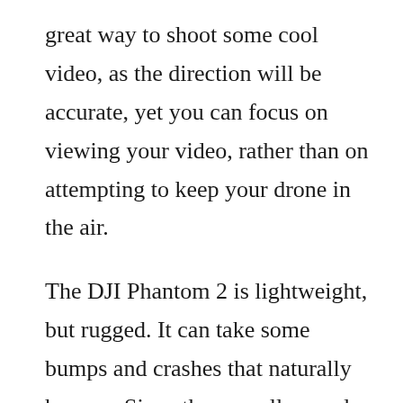great way to shoot some cool video, as the direction will be accurate, yet you can focus on viewing your video, rather than on attempting to keep your drone in the air.
The DJI Phantom 2 is lightweight, but rugged. It can take some bumps and crashes that naturally happen. Since the propellers and landing gear can be detached, you can easily tuck it into a backpack before you head into the wilderness. Once the propellers have been attached, they're self-tightening, so you won't have to worry about carrying a screwdriver with